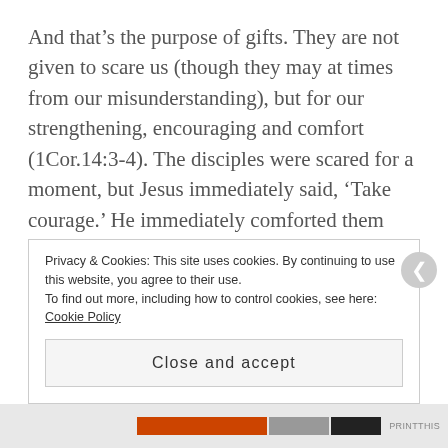And that’s the purpose of gifts. They are not given to scare us (though they may at times from our misunderstanding), but for our strengthening, encouraging and comfort (1Cor.14:3-4). The disciples were scared for a moment, but Jesus immediately said, ‘Take courage.’ He immediately comforted them from the fear of the waves, storm, and the way He came to them. So, don’t let it scare you if He comes to you through gifts, because when He comes it is to comfort you. If you are like the disciples, and have fear because you don’t understand a way in which
Privacy & Cookies: This site uses cookies. By continuing to use this website, you agree to their use.
To find out more, including how to control cookies, see here: Cookie Policy
Close and accept